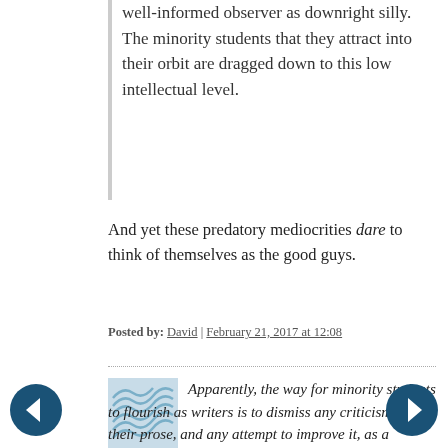well-informed observer as downright silly. The minority students that they attract into their orbit are dragged down to this low intellectual level.
And yet these predatory mediocrities dare to think of themselves as the good guys.
Posted by: David | February 21, 2017 at 12:08
[Figure (illustration): Small square avatar image with blue wave/shell pattern]
Apparently, the way for minority students to flourish as writers is to dismiss any criticism of their prose, and any attempt to improve it, as a racially motivated “microaggression” and an “oppressive practice”
- and people's refusal to buy their writing, or inability to understand it, would be called? Pretty sure the market will weed-out this mess on its own; sad that people's (i.e., the